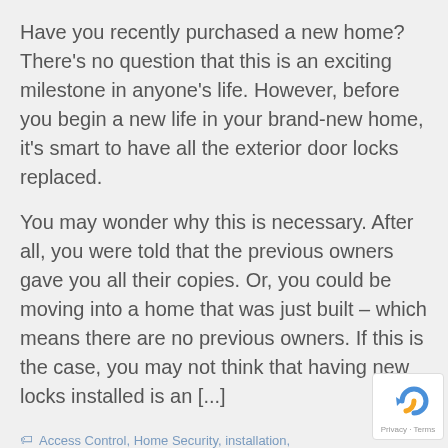Have you recently purchased a new home? There's no question that this is an exciting milestone in anyone's life. However, before you begin a new life in your brand-new home, it's smart to have all the exterior door locks replaced.
You may wonder why this is necessary. After all, you were told that the previous owners gave you all their copies. Or, you could be moving into a home that was just built – which means there are no previous owners. If this is the case, you may not think that having new locks installed is an [...]
Access Control, Home Security, installation, Residential Security, safety, technology
[Figure (logo): reCAPTCHA badge with Privacy and Terms text]